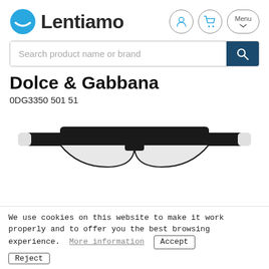Lentiamo
[Figure (screenshot): Search bar with placeholder text 'Search product name or brand' and a dark blue search button with magnifying glass icon]
Dolce & Gabbana
0DG3350 501 51
[Figure (photo): Black half-rim eyeglasses (Dolce & Gabbana 0DG3350 501 51) shown from above, cropped at bottom of frame]
We use cookies on this website to make it work properly and to offer you the best browsing experience.  More information   Accept
Reject